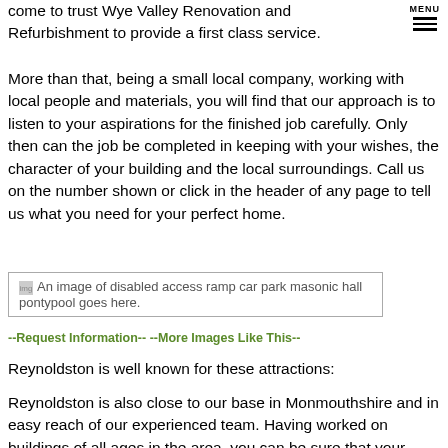MENU
come to trust Wye Valley Renovation and Refurbishment to provide a first class service.
More than that, being a small local company, working with local people and materials, you will find that our approach is to listen to your aspirations for the finished job carefully. Only then can the job be completed in keeping with your wishes, the character of your building and the local surroundings. Call us on the number shown or click in the header of any page to tell us what you need for your perfect home.
[Figure (photo): An image of disabled access ramp car park masonic hall pontypool goes here.]
--Request Information-- --More Images Like This--
Reynoldston is well known for these attractions:
Reynoldston is also close to our base in Monmouthshire and in easy reach of our experienced team. Having worked on buildings of all ages in the area, you can be sure that your project will be carried out not only in accordance with your